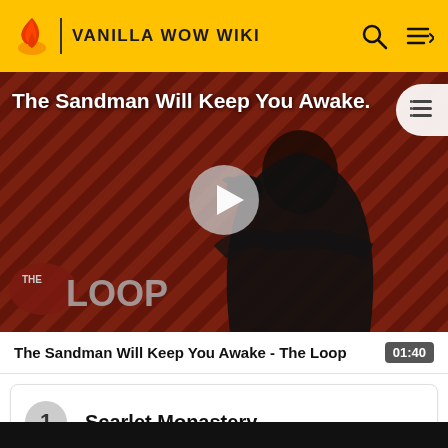VANILLA WOW WIKI
[Figure (screenshot): Video thumbnail showing The Sandman character in black costume against red diagonal striped background with 'THE LOOP' logo and a play button overlay]
The Sandman Will Keep You Awake - The Loop  01:40
1  Scarlet Monastery